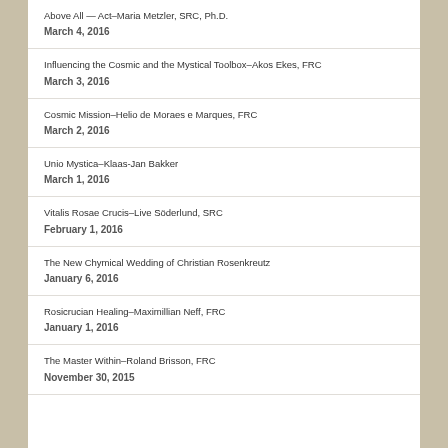Above All — Act–Maria Metzler, SRC, Ph.D.
March 4, 2016
Influencing the Cosmic and the Mystical Toolbox–Akos Ekes, FRC
March 3, 2016
Cosmic Mission–Helio de Moraes e Marques, FRC
March 2, 2016
Unio Mystica–Klaas-Jan Bakker
March 1, 2016
Vitalis Rosae Crucis–Live Söderlund, SRC
February 1, 2016
The New Chymical Wedding of Christian Rosenkreutz
January 6, 2016
Rosicrucian Healing–Maximillian Neff, FRC
January 1, 2016
The Master Within–Roland Brisson, FRC
November 30, 2015